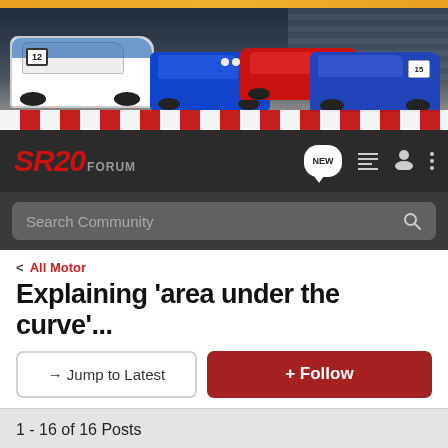[Figure (photo): SR20 Forum website banner showing racing cars including a white rally car with number 12, a red sedan, a blue Nissan racing car with number 15, on a racetrack with checkered pattern at bottom]
SR20 FORUM
Search Community
< All Motor
Explaining 'area under the curve'...
→ Jump to Latest
+ Follow
1 - 16 of 16 Posts
mYseRgOesvrOOm · I need me SE-R
Joined May 31, 2003 · 1,930 Posts